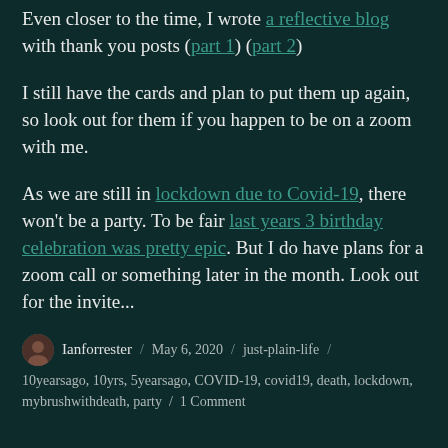Even closer to the time, I wrote a reflective blog with thank you posts (part 1) (part 2)
I still have the cards and plan to put them up again, so look out for them if you happen to be on a zoom with me.
As we are still in lockdown due to Covid-19, there won't be a party. To be fair last years 3 birthday celebration was pretty epic. But I do have plans for a zoom call or something later in the month. Look out for the invite...
Ianforrester / May 6, 2020 / just-plain-life / 10yearsago, 10yrs, 5yearsago, COVID-19, covid19, death, lockdown, mybrushwithdeath, party / 1 Comment